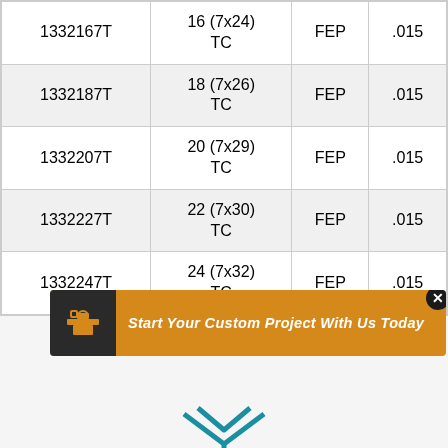| 1332167T | 16 (7x24)
TC | FEP | .015 |
| 1332187T | 18 (7x26)
TC | FEP | .015 |
| 1332207T | 20 (7x29)
TC | FEP | .015 |
| 1332227T | 22 (7x30)
TC | FEP | .015 |
| 1332247T | 24 (7x32)
TC | FEP | .015 |
Start Your Custom Project With Us Today